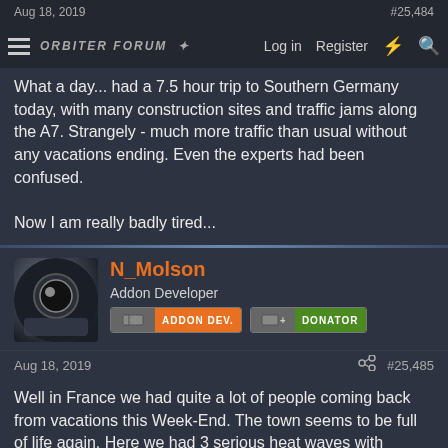Aug 18, 2019  #25,484
What a day... had a 7.5 hour trip to Southern Germany today, with many construction sites and traffic jams along the A7. Strangely - much more traffic than usual without any vacations ending. Even the experts had been confused.

Now I am really badly tired...
N_Molson
Addon Developer  ADDON DEV.  DONATOR
Aug 18, 2019  #25,485
Well in France we had quite a lot of people coming back from vacations this Week-End. The town seems to be full of life again. Here we had 3 serious heat waves with temperatures going as high as 41°C (and no less than 25°C at night), which made streets really empty. Now we have storms when temperatures hit 32°C or so, then we lose 15°C overnight, 1 day of light rain, temperatures rise again for a week, another storm, and so on.